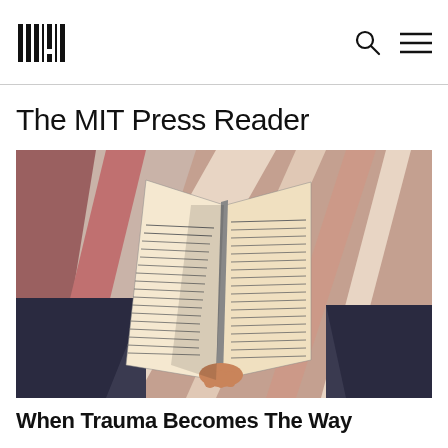The MIT Press Reader
The MIT Press Reader
[Figure (photo): A person holding open a book with text pages visible, illustrated/painted style with geometric background in pink and cream tones and dark clothing.]
When Trauma Becomes The Way